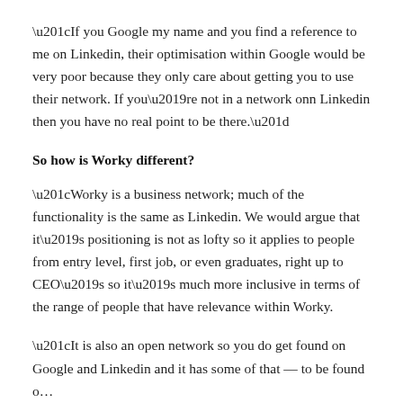“If you Google my name and you find a reference to me on Linkedin, their optimisation within Google would be very poor because they only care about getting you to use their network. If you’re not in a network onn Linkedin then you have no real point to be there.”
So how is Worky different?
“Worky is a business network; much of the functionality is the same as Linkedin. We would argue that it’s positioning is not as lofty so it applies to people from entry level, first job, or even graduates, right up to CEO’s so it’s much more inclusive in terms of the range of people that have relevance within Worky.
“It is also an open network so you do get found on Google and Linkedin and it has some of that — to be found o…